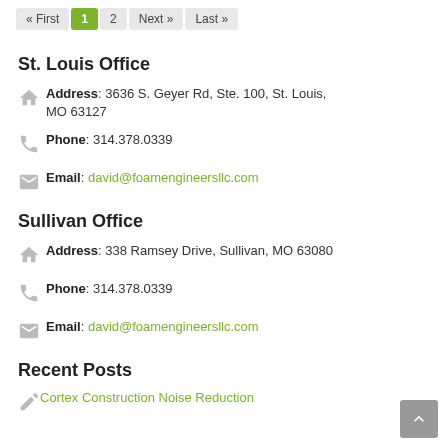« First  1  2  Next »  Last »
St. Louis Office
Address: 3636 S. Geyer Rd, Ste. 100, St. Louis, MO 63127
Phone: 314.378.0339
Email: david@foamengineersllc.com
Sullivan Office
Address: 338 Ramsey Drive, Sullivan, MO 63080
Phone: 314.378.0339
Email: david@foamengineersllc.com
Recent Posts
Cortex Construction Noise Reduction